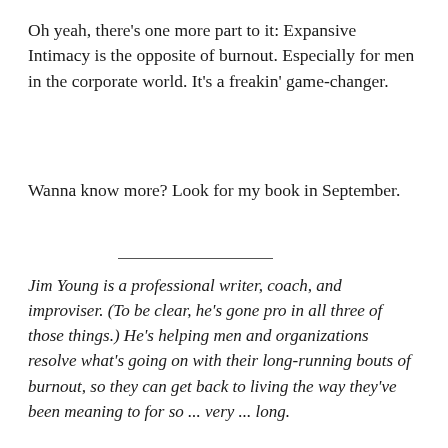Oh yeah, there's one more part to it: Expansive Intimacy is the opposite of burnout. Especially for men in the corporate world. It's a freakin' game-changer.
Wanna know more? Look for my book in September.
Jim Young is a professional writer, coach, and improviser. (To be clear, he's gone pro in all three of those things.) He's helping men and organizations resolve what's going on with their long-running bouts of burnout, so they can get back to living the way they've been meaning to for so ... very ... long.